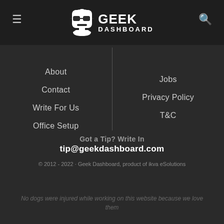[Figure (logo): Geek Dashboard logo with hamburger menu icon on left and search icon on right in dark header bar]
About
Contact
Write For Us
Office Setup
Jobs
Privacy Policy
T&C
Got a Tip? Write In
tip@geekdashboard.com
© 2012 - 2022 · Geek Dashboard, product of ikva eSolutions
No dogs were injured while working on this website because we love them